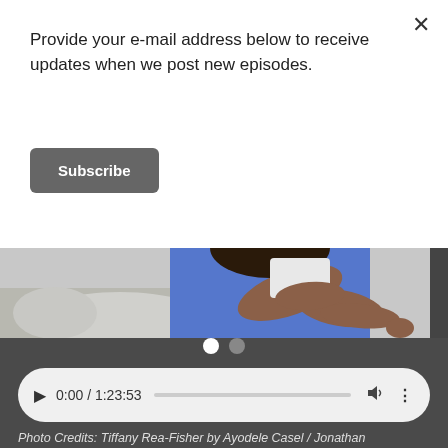Provide your e-mail address below to receive updates when we post new episodes.
Subscribe
[Figure (photo): Person in blue dress sitting on a sofa with arms crossed, partially cropped]
0:00 / 1:23:53
Photo Credits: Tiffany Rea-Fisher by Ayodele Casel / Jonathan